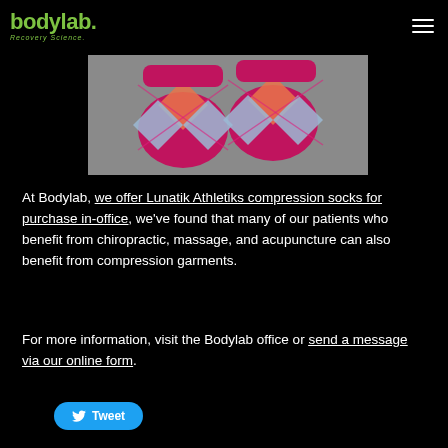bodylab. Recovery Science.
[Figure (photo): Photo of colorful argyle pattern compression socks in pink, orange, and blue/grey tones on grey background]
At Bodylab, we offer Lunatik Athletiks compression socks for purchase in-office, we've found that many of our patients who benefit from chiropractic, massage, and acupuncture can also benefit from compression garments.
For more information, visit the Bodylab office or send a message via our online form.
Tweet